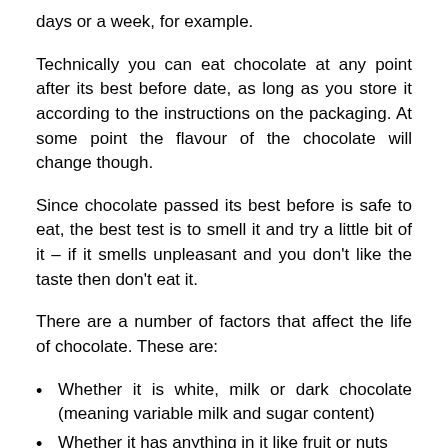days or a week, for example.
Technically you can eat chocolate at any point after its best before date, as long as you store it according to the instructions on the packaging. At some point the flavour of the chocolate will change though.
Since chocolate passed its best before is safe to eat, the best test is to smell it and try a little bit of it – if it smells unpleasant and you don't like the taste then don't eat it.
There are a number of factors that affect the life of chocolate. These are:
Whether it is white, milk or dark chocolate (meaning variable milk and sugar content)
Whether it has anything in it like fruit or nuts
How it is stored